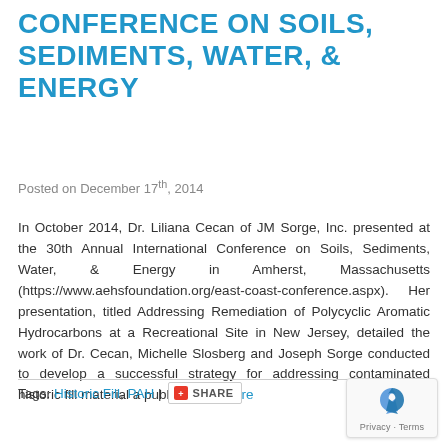CONFERENCE ON SOILS, SEDIMENTS, WATER, & ENERGY
Posted on December 17th, 2014
In October 2014, Dr. Liliana Cecan of JM Sorge, Inc. presented at the 30th Annual International Conference on Soils, Sediments, Water, & Energy in Amherst, Massachusetts (https://www.aehsfoundation.org/east-coast-conference.aspx). Her presentation, titled Addressing Remediation of Polycyclic Aromatic Hydrocarbons at a Recreational Site in New Jersey, detailed the work of Dr. Cecan, Michelle Slosberg and Joseph Sorge conducted to develop a successful strategy for addressing contaminated historic fill material a public park…more
Tags: Historic Fill, PAH | SHARE